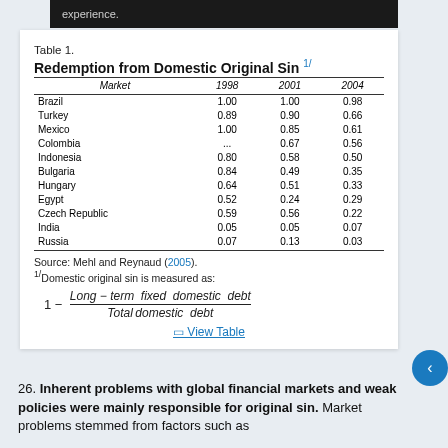Table 1. Redemption from Domestic Original Sin 1/
| Market | 1998 | 2001 | 2004 |
| --- | --- | --- | --- |
| Brazil | 1.00 | 1.00 | 0.98 |
| Turkey | 0.89 | 0.90 | 0.66 |
| Mexico | 1.00 | 0.85 | 0.61 |
| Colombia | ... | 0.67 | 0.56 |
| Indonesia | 0.80 | 0.58 | 0.50 |
| Bulgaria | 0.84 | 0.49 | 0.35 |
| Hungary | 0.64 | 0.51 | 0.33 |
| Egypt | 0.52 | 0.24 | 0.29 |
| Czech Republic | 0.59 | 0.56 | 0.22 |
| India | 0.05 | 0.05 | 0.07 |
| Russia | 0.07 | 0.13 | 0.03 |
Source: Mehl and Reynaud (2005). 1/Domestic original sin is measured as:
View Table
26. Inherent problems with global financial markets and weak policies were mainly responsible for original sin. Market problems stemmed from factors such as